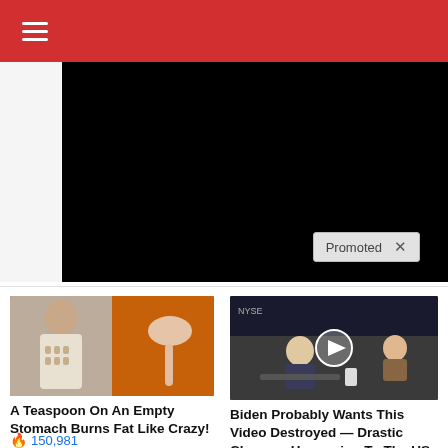≡ (hamburger menu)
[Figure (screenshot): Black video player area embedded in page]
Promoted ×
[Figure (photo): A woman showing abs next to a spoon with orange spice powder]
A Teaspoon On An Empty Stomach Burns Fat Like Crazy!
🔥 150,981
[Figure (screenshot): Video thumbnail of a man being interviewed at NYSE with a play button overlay]
Biden Probably Wants This Video Destroyed — Drastic Changes Happening To The US Dollar?
🔥 66,003